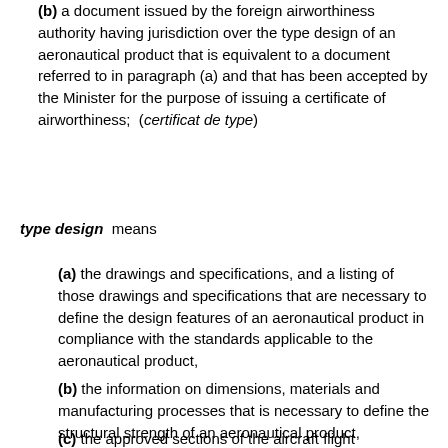(b) a document issued by the foreign airworthiness authority having jurisdiction over the type design of an aeronautical product that is equivalent to a document referred to in paragraph (a) and that has been accepted by the Minister for the purpose of issuing a certificate of airworthiness;  (certificat de type)
type design  means
(a) the drawings and specifications, and a listing of those drawings and specifications that are necessary to define the design features of an aeronautical product in compliance with the standards applicable to the aeronautical product,
(b) the information on dimensions, materials and manufacturing processes that is necessary to define the structural strength of an aeronautical product,
(c) the approved sections of the aircraft flight